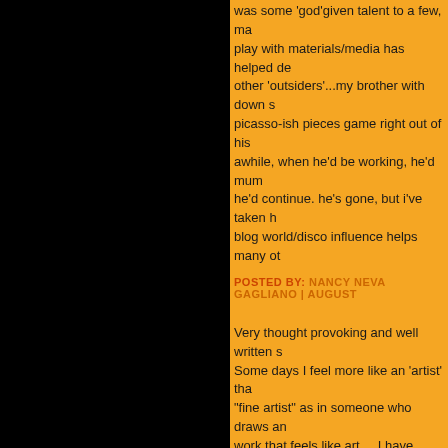was some 'god'given talent to a few, making play with materials/media has helped de- other 'outsiders'...my brother with down s- picasso-ish pieces game right out of his awhile, when he'd be working, he'd mum- he'd continue. he's gone, but i've taken h- blog world/disco influence helps many ot-
POSTED BY: NANCY NEVA GAGLIANO | AUGUST
Very thought provoking and well written S- Some days I feel more like an 'artist' tha- "fine artist" as in someone who draws an- work that feels like art ... I have heard my business ... that ...
It is something I will continue to ponder . thanks as always for inspiring with your c-
POSTED BY: ~*~PATTY | AUGUST 2010 AT 12:57
I recently met a woman who told me abo- playing she loved about three years ago she, as a musician, ever resented the fa- moment to fulfill that part of herself. She